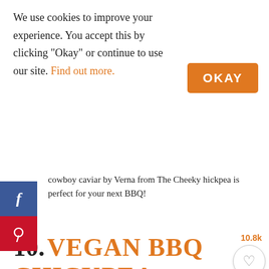We use cookies to improve your experience. You accept this by clicking "Okay" or continue to use our site. Find out more.
OKAY
cowboy caviar by Verna from The Cheeky hickpea is perfect for your next BBQ!
10. VEGAN BBQ CHICKPEA SALAD
10.8k
[Figure (photo): A bowl of salad with carrots and greens on a grey surface]